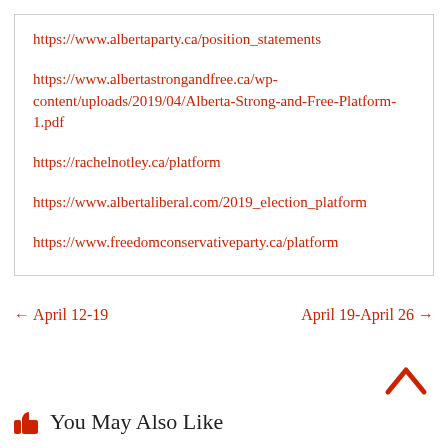https://www.albertaparty.ca/position_statements
https://www.albertastrongandfree.ca/wp-content/uploads/2019/04/Alberta-Strong-and-Free-Platform-1.pdf
https://rachelnotley.ca/platform
https://www.albertaliberal.com/2019_election_platform
https://www.freedomconservativeparty.ca/platform
← April 12-19
April 19-April 26 →
You May Also Like